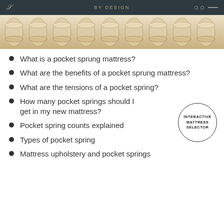BY DESIGN
[Figure (photo): Close-up photograph of rows of pocket springs in a mattress, showing cream/beige colored individual fabric-encased coils arranged in a row.]
What is a pocket sprung mattress?
What are the benefits of a pocket sprung mattress?
What are the tensions of a pocket spring?
How many pocket springs should I get in my new mattress?
Pocket spring counts explained
Types of pocket spring
Mattress upholstery and pocket springs
[Figure (other): Circular badge/button with text INTERACTIVE MATTRESS SELECTOR]